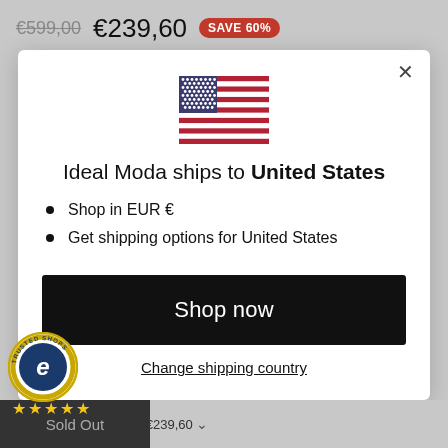€599,00  €239,60  SAVE 60%
[Figure (illustration): US flag emoji/illustration]
Ideal Moda ships to United States
Shop in EUR €
Get shipping options for United States
Shop now
Change shipping country
[Figure (logo): Trusted Shops Guarantee badge with blue 'e' logo and circular text]
4,92
50 - €239,60
Sold Out